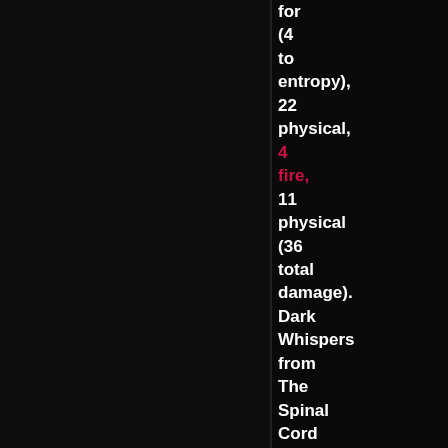for (4 to entropy), 22 physical, 4 fire, 11 physical (36 total damage). Dark Whispers from The Spinal Cord hits Rifty for